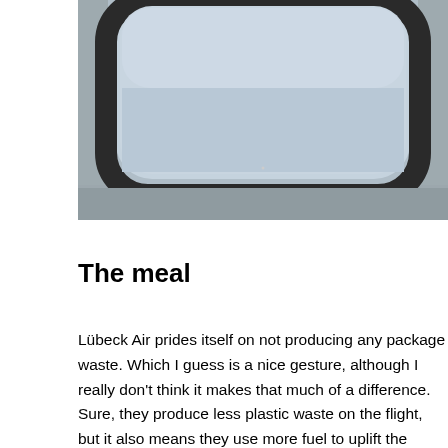[Figure (photo): Close-up photo of an airplane window from inside the cabin, showing a rounded rectangular window with dark frame and blue-grey sky outside.]
The meal
Lübeck Air prides itself on not producing any package waste. Which I guess is a nice gesture, although I really don't think it makes that much of a difference. Sure, they produce less plastic waste on the flight, but it also means they use more fuel to uplift the